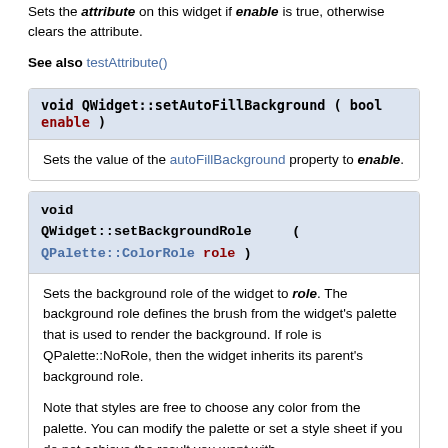Sets the attribute on this widget if enable is true, otherwise clears the attribute.
See also testAttribute()
void QWidget::setAutoFillBackground ( bool  enable )
Sets the value of the autoFillBackground property to enable.
void QWidget::setBackgroundRole  ( QPalette::ColorRole  role )
Sets the background role of the widget to role. The background role defines the brush from the widget's palette that is used to render the background. If role is QPalette::NoRole, then the widget inherits its parent's background role.

Note that styles are free to choose any color from the palette. You can modify the palette or set a style sheet if you do not achieve the result you want with setBackgroundRole().